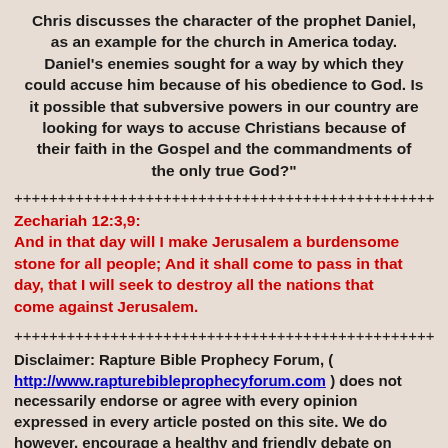Chris discusses the character of the prophet Daniel, as an example for the church in America today. Daniel's enemies sought for a way by which they could accuse him because of his obedience to God. Is it possible that subversive powers in our country are looking for ways to accuse Christians because of their faith in the Gospel and the commandments of the only true God?"
++++++++++++++++++++++++++++++++++++++++++++++++++
Zechariah 12:3,9:
And in that day will I make Jerusalem a burdensome stone for all people; And it shall come to pass in that day, that I will seek to destroy all the nations that come against Jerusalem.
+++++++++++++++++++++++++++++++++++++++++++++++
Disclaimer: Rapture Bible Prophecy Forum, ( http://www.rapturebibleprophecyforum.com ) does not necessarily endorse or agree with every opinion expressed in every article posted on this site. We do however, encourage a healthy and friendly debate on the issues of our day. Whether you agree or disagree